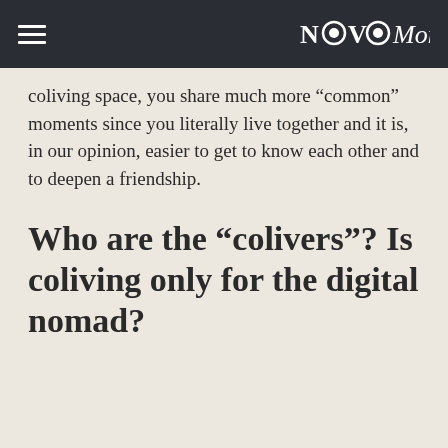NOVOMonde
coliving space, you share much more “common” moments since you literally live together and it is, in our opinion, easier to get to know each other and to deepen a friendship.
Who are the “colivers”? Is coliving only for the digital nomad?